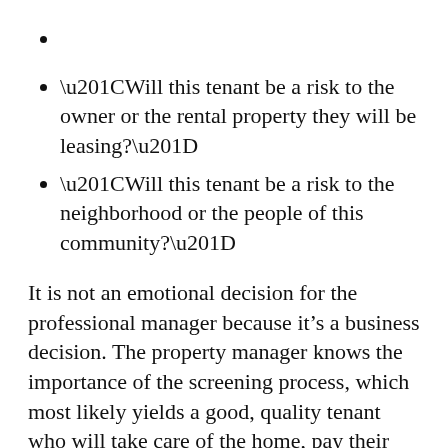“Will this tenant be a risk to the owner or the rental property they will be leasing?”
“Will this tenant be a risk to the neighborhood or the people of this community?”
It is not an emotional decision for the professional manager because it’s a business decision. The property manager knows the importance of the screening process, which most likely yields a good, quality tenant who will take care of the home, pay their rent on time and not be a risk to the neighborhood.
A common problem many DIY landlords face is not having the essential resources or knowledge for a comprehensive screening...